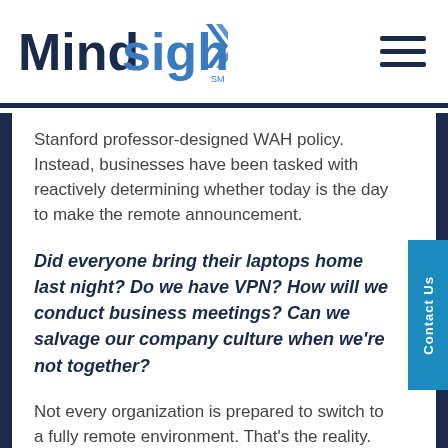[Figure (logo): Mindsight logo with double chevron arrows in blue, 'Mind' in dark navy bold and 'sight' in lighter blue bold, with 'SM' superscript]
Stanford professor-designed WAH policy. Instead, businesses have been tasked with reactively determining whether today is the day to make the remote announcement.
Did everyone bring their laptops home last night? Do we have VPN? How will we conduct business meetings? Can we salvage our company culture when we're not together?
Not every organization is prepared to switch to a fully remote environment. That's the reality.